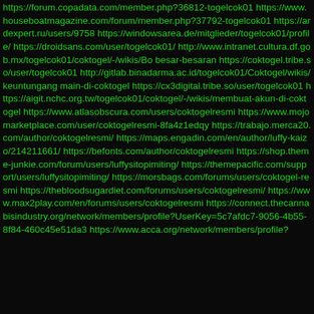https://forum.copadata.com/member.php?36812-togelcok01 https://www.houseboatmagazine.com/forum/member.php?37792-togelcok01 https://ardexpert.ru/users/9758 https://windowsarea.de/mitglieder/togelcok01/profile/ https://droidsans.com/user/togelcok01/ http://www.intranet.cultura.df.gob.mx/togelcok01/coktogel/-/wikis/Bo besar-besaran https://coktogel.tribe.so/user/togelcok01 http://gitlab.binadarma.ac.id/togelcok01/Coktogel/wikis/keuntungang main-di-coktogel https://cx3digital.tribe.so/user/togelcok01 https://aigit.nchc.org.tw/togelcok01/coktogel/-/wikis/membuat-akun-di-coktogel https://www.atlasobscura.com/users/coktogelresmi https://www.mojomarketplace.com/user/coktogelresmi-8fa4z1edqy https://trabajo.merca20.com/author/coktogelresmi/ https://maps.engadin.com/en/author/luffy-kaizo/214211661/ https://befonts.com/author/coktogelresmi https://shop.theme-junkie.com/forum/users/luffysitopimiting/ https://themepacific.com/support/users/luffysitopimiting/ https://morsbags.com/forums/users/coktogel-resmi https://thebloodsugardiet.com/forums/users/coktogelresmi/ https://www.max2play.com/en/forums/users/coktogelresmi https://connect.thecannabisindustry.org/network/members/profile?UserKey=5c7afdc7-9056-4b55-8f84-460c45e51da3 https://www.acca.org/network/members/profile?